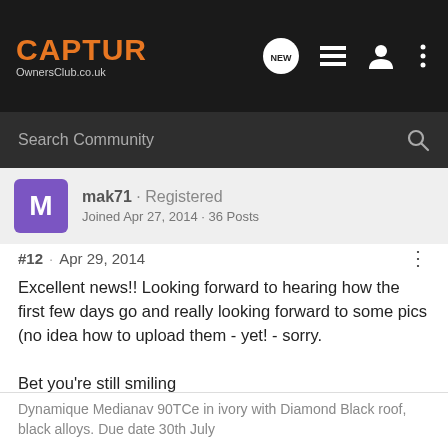CAPTUR OwnersClub.co.uk
Search Community
mak71 · Registered
Joined Apr 27, 2014 · 36 Posts
#12 · Apr 29, 2014
Excellent news!! Looking forward to hearing how the first few days go and really looking forward to some pics (no idea how to upload them - yet! - sorry.

Bet you're still smiling
Dynamique Medianav 90TCe in ivory with Diamond Black roof, black alloys. Due date 30th July